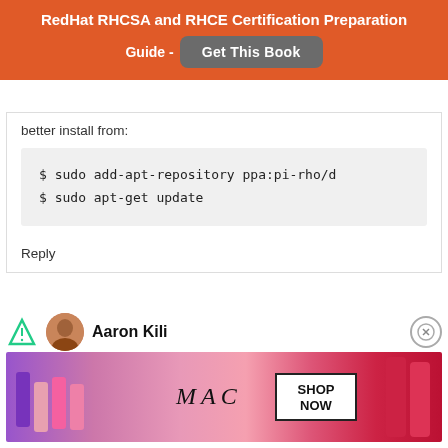RedHat RHCSA and RHCE Certification Preparation Guide - Get This Book
better install from:
$ sudo add-apt-repository ppa:pi-rho/d
$ sudo apt-get update
Reply
Aaron Kili
[Figure (infographic): MAC cosmetics advertisement banner with lipsticks, MAC logo, and SHOP NOW button]